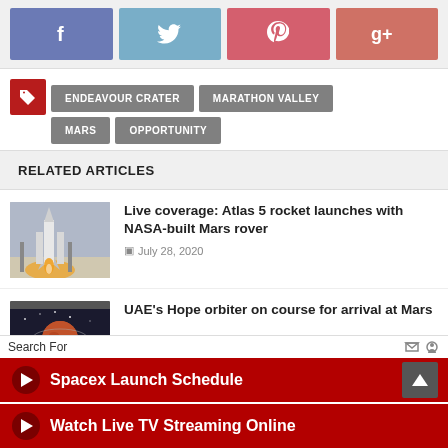[Figure (infographic): Social share buttons: Facebook (blue-purple), Twitter (light blue), Pinterest (red-pink), Google+ (salmon red)]
ENDEAVOUR CRATER
MARATHON VALLEY
MARS
OPPORTUNITY
RELATED ARTICLES
[Figure (photo): Photo of Atlas 5 rocket launching]
Live coverage: Atlas 5 rocket launches with NASA-built Mars rover
July 28, 2020
[Figure (photo): Photo related to UAE Hope orbiter]
UAE's Hope orbiter on course for arrival at Mars
Search For
Spacex Launch Schedule
Watch Live TV Streaming Online